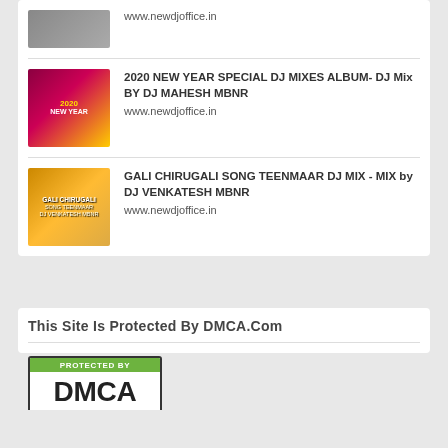www.newdjoffice.in
2020 NEW YEAR SPECIAL DJ MIXES ALBUM- DJ Mix BY DJ MAHESH MBNR
www.newdjoffice.in
GALI CHIRUGALI SONG TEENMAAR DJ MIX - MIX by DJ VENKATESH MBNR
www.newdjoffice.in
This Site Is Protected By DMCA.Com
[Figure (logo): DMCA Protected badge with green header bar reading PROTECTED BY and large black DMCA text on white background, surrounded by a black border.]